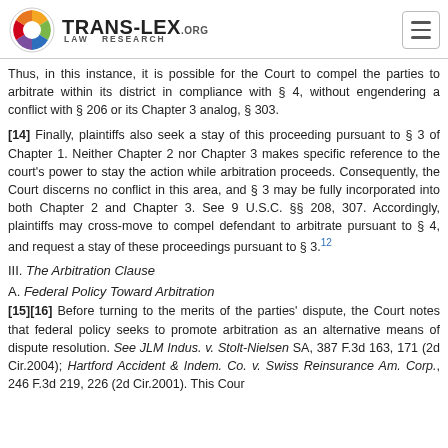TRANS-LEX.ORG LAW RESEARCH
Thus, in this instance, it is possible for the Court to compel the parties to arbitrate within its district in compliance with § 4, without engendering a conflict with § 206 or its Chapter 3 analog, § 303.
[14] Finally, plaintiffs also seek a stay of this proceeding pursuant to § 3 of Chapter 1. Neither Chapter 2 nor Chapter 3 makes specific reference to the court's power to stay the action while arbitration proceeds. Consequently, the Court discerns no conflict in this area, and § 3 may be fully incorporated into both Chapter 2 and Chapter 3. See 9 U.S.C. §§ 208, 307. Accordingly, plaintiffs may cross-move to compel defendant to arbitrate pursuant to § 4, and request a stay of these proceedings pursuant to § 3.¹²
III. The Arbitration Clause
A. Federal Policy Toward Arbitration
[15][16] Before turning to the merits of the parties' dispute, the Court notes that federal policy seeks to promote arbitration as an alternative means of dispute resolution. See JLM Indus. v. Stolt-Nielsen SA, 387 F.3d 163, 171 (2d Cir.2004); Hartford Accident & Indem. Co. v. Swiss Reinsurance Am. Corp., 246 F.3d 219, 226 (2d Cir.2001). This Cour